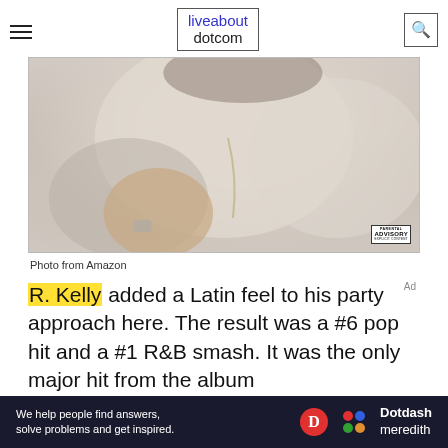liveabout dotcom
[Figure (photo): Album cover art showing a person wearing a white fur coat with hand visible, parental advisory label in bottom right corner. Photo from Amazon.]
Photo from Amazon
R. Kelly added a Latin feel to his party approach here. The result was a #6 pop hit and a #1 R&B smash. It was the only major hit from the album